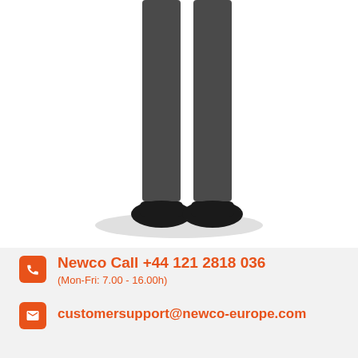[Figure (illustration): Lower half of a standing person's legs in dark grey trousers and black shoes, with a light grey oval shadow beneath the feet, cropped at the knees]
Newco Call +44 121 2818 036
(Mon-Fri: 7.00 - 16.00h)
customersupport@newco-europe.com